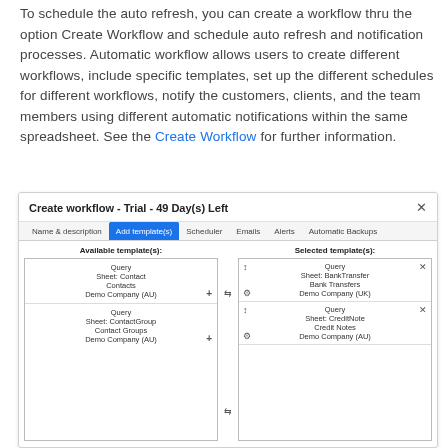To schedule the auto refresh, you can create a workflow thru the option Create Workflow and schedule auto refresh and notification processes. Automatic workflow allows users to create different workflows, include specific templates, set up the different schedules for different workflows, notify the customers, clients, and the team members using different automatic notifications within the same spreadsheet. See the Create Workflow for further information.
[Figure (screenshot): Screenshot of Create workflow dialog - Trial - 49 Day(s) Left, showing tabs: Name & description, Add template(s) [active/blue], Scheduler, Emails, Alerts, Automatic Backups. Left panel shows Available template(s) with two items: Query/Sheet: Contact/Contacts/Demo Company (AU) and Query/Sheet: ContactGroup/Contact Groups/Demo Company (AU). Right panel shows Selected template(s) with two items: Query/Sheet: BankTransfer/Bank Transfers/Demo Company (UK) and Query/Sheet: CreditNote/Credit Notes/Demo Company (AU). Arrow buttons between panels.]